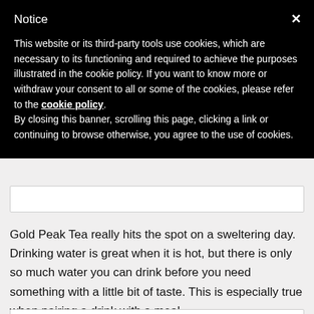Notice
This website or its third-party tools use cookies, which are necessary to its functioning and required to achieve the purposes illustrated in the cookie policy. If you want to know more or withdraw your consent to all or some of the cookies, please refer to the cookie policy.
By closing this banner, scrolling this page, clicking a link or continuing to browse otherwise, you agree to the use of cookies.
Gold Peak Tea really hits the spot on a sweltering day. Drinking water is great when it is hot, but there is only so much water you can drink before you need something with a little bit of taste. This is especially true when pairing a drink with a meal.